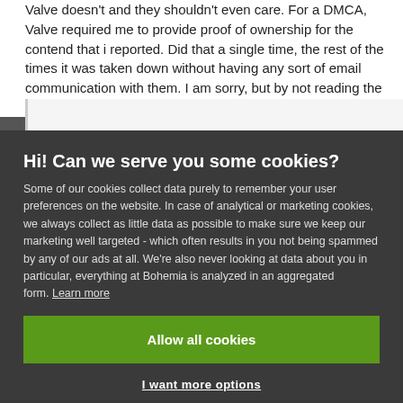Valve doesn't and they shouldn't even care. For a DMCA, Valve required me to provide proof of ownership for the contend that i reported. Did that a single time, the rest of the times it was taken down without having any sort of email communication with them. I am sorry, but by not reading the EULA, or the law, or the whatever, it doesn't actually mean it will not apply to you...
Hi! Can we serve you some cookies?
Some of our cookies collect data purely to remember your user preferences on the website. In case of analytical or marketing cookies, we always collect as little data as possible to make sure we keep our marketing well targeted - which often results in you not being spammed by any of our ads at all. We're also never looking at data about you in particular, everything at Bohemia is analyzed in an aggregated form. Learn more
Allow all cookies
I want more options